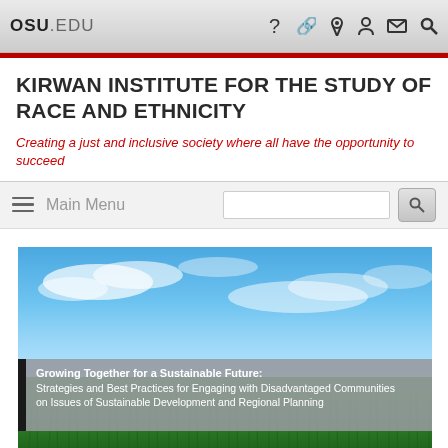OSU.EDU
KIRWAN INSTITUTE FOR THE STUDY OF RACE AND ETHNICITY
Creating a just and inclusive society where all have the opportunity to succeed
Main Menu
[Figure (screenshot): Hero banner image showing a landscape with a blue sky with wispy white clouds on top and a field of lush green grass on the bottom. Overlaid is a semi-transparent gray text box with a black vertical bar on the left side reading: Growing Together for a Sustainable Future: Strategies and Best Practices for Engaging with Disadvantaged Communities on Issues of Sustainable Development and Regional Planning]
Growing Together for a Sustainable Future: Strategies and Best Practices for Engaging with Disadvantaged Communities on Issues of Sustainable Development and Regional Planning